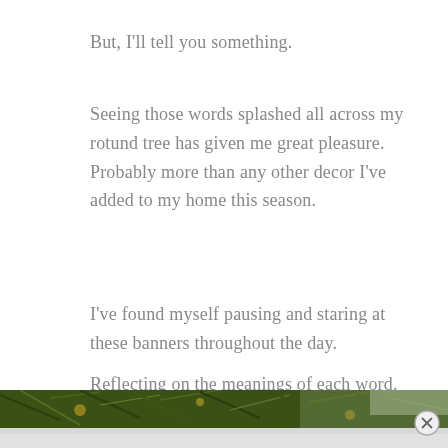But, I'll tell you something.
Seeing those words splashed all across my rotund tree has given me great pleasure. Probably more than any other decor I've added to my home this season.
I've found myself pausing and staring at these banners throughout the day.
Reflecting on the meanings of each word.
[Figure (photo): Close-up photo of pine tree branches with needles and bokeh lighting, partially visible at bottom of page. An advertisement banner overlays the lower portion.]